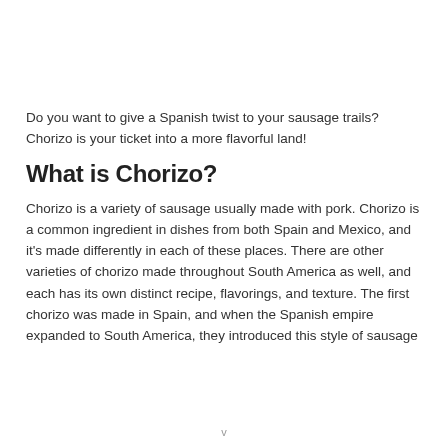Do you want to give a Spanish twist to your sausage trails? Chorizo is your ticket into a more flavorful land!
What is Chorizo?
Chorizo is a variety of sausage usually made with pork. Chorizo is a common ingredient in dishes from both Spain and Mexico, and it's made differently in each of these places. There are other varieties of chorizo made throughout South America as well, and each has its own distinct recipe, flavorings, and texture. The first chorizo was made in Spain, and when the Spanish empire expanded to South America, they introduced this style of sausage
v